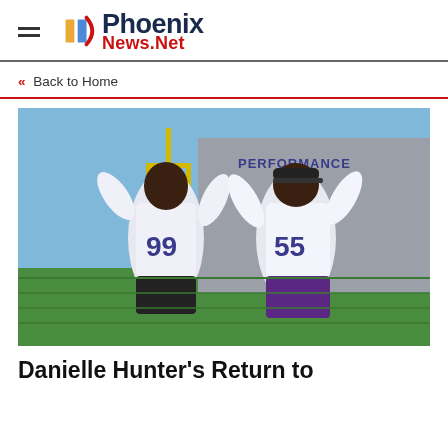Phoenix News.Net
« Back to Home
[Figure (photo): Two Minnesota Vikings players wearing jerseys #99 and #55 flexing their muscles on a practice field, with a yellow field goal post and a 'PERFORMANCE' building in the background.]
Danielle Hunter's Return to